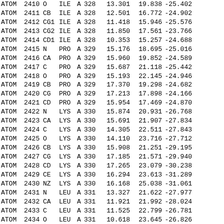| Record | Serial | Name | Res | Ch | Seq | X | Y | Z |
| --- | --- | --- | --- | --- | --- | --- | --- | --- |
| ATOM | 2410 | O | ILE | A | 328 | 13.301 | 19.838 | -25.402 |
| ATOM | 2411 | CB | ILE | A | 328 | 12.501 | 16.772 | -24.902 |
| ATOM | 2412 | CG1 | ILE | A | 328 | 11.418 | 15.946 | -25.576 |
| ATOM | 2413 | CG2 | ILE | A | 328 | 11.850 | 17.561 | -23.766 |
| ATOM | 2414 | CD1 | ILE | A | 328 | 10.353 | 15.257 | -24.688 |
| ATOM | 2415 | N | PRO | A | 329 | 15.176 | 18.695 | -25.016 |
| ATOM | 2416 | CA | PRO | A | 329 | 15.960 | 19.852 | -24.589 |
| ATOM | 2417 | C | PRO | A | 329 | 15.687 | 21.118 | -25.442 |
| ATOM | 2418 | O | PRO | A | 329 | 15.193 | 22.145 | -24.946 |
| ATOM | 2419 | CB | PRO | A | 329 | 17.370 | 19.298 | -24.682 |
| ATOM | 2420 | CG | PRO | A | 329 | 17.213 | 17.898 | -24.166 |
| ATOM | 2421 | CD | PRO | A | 329 | 15.954 | 17.469 | -24.870 |
| ATOM | 2422 | N | LYS | A | 330 | 15.874 | 20.931 | -26.768 |
| ATOM | 2423 | CA | LYS | A | 330 | 15.691 | 21.907 | -27.834 |
| ATOM | 2424 | C | LYS | A | 330 | 14.305 | 22.511 | -27.843 |
| ATOM | 2425 | O | LYS | A | 330 | 14.110 | 23.716 | -27.712 |
| ATOM | 2426 | CB | LYS | A | 330 | 15.908 | 21.251 | -29.195 |
| ATOM | 2427 | CG | LYS | A | 330 | 17.185 | 21.571 | -29.940 |
| ATOM | 2428 | CD | LYS | A | 330 | 17.265 | 23.079 | -30.238 |
| ATOM | 2429 | CE | LYS | A | 330 | 16.294 | 23.613 | -31.289 |
| ATOM | 2430 | NZ | LYS | A | 330 | 16.168 | 25.038 | -31.061 |
| ATOM | 2431 | N | LEU | A | 331 | 13.327 | 21.622 | -27.977 |
| ATOM | 2432 | CA | LEU | A | 331 | 11.921 | 21.992 | -28.024 |
| ATOM | 2433 | C | LEU | A | 331 | 11.525 | 22.799 | -26.781 |
| ATOM | 2434 | O | LEU | A | 331 | 10.618 | 23.645 | -26.826 |
| ATOM | 2435 | CB | LEU | A | 331 | 11.096 | 20.695 | -28.174 |
| ATOM | 2436 | CG | LEU | A | 331 | 10.314 | 20.437 | -29.454 |
| ATOM | 2437 | CD1 | LEU | A | 331 | 8.968 | 21.103 | -29.386 |
| ATOM | 2438 | CD2 | LEU | A | 331 | 11.079 | 20.964 | -30.631 |
| ATOM | 2439 | N | VAL | A | 332 | 12.221 | 22.597 | -25.654 |
| ATOM | 2440 | CA | VAL | A | 332 | 11.891 | 23.371 | -24.465 |